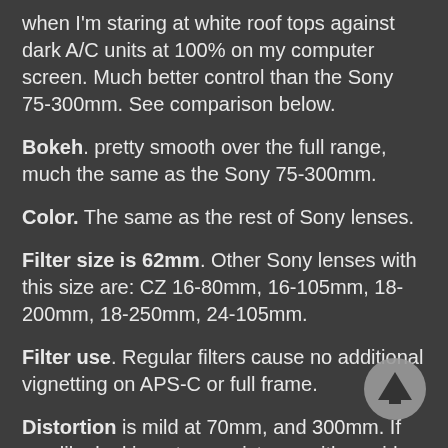when I'm staring at white roof tops against dark A/C units at 100% on my computer screen.  Much better control than the Sony 75-300mm.   See comparison below.
Bokeh.  pretty smooth over the full range, much the same as the Sony 75-300mm.
Color.  The same as the rest of Sony lenses.
Filter size is 62mm.  Other Sony lenses with this size are: CZ 16-80mm, 16-105mm, 18-200mm, 18-250mm, 24-105mm.
Filter use.  Regular filters cause no additional vignetting on APS-C or full frame.
Distortion is mild at 70mm, and 300mm.  If you like looking at your pictures with a grid overlay, there’s some mild pincushion distortion from 70mm to 300mm.  It’s not a problem for me and you don’t see it in regular pictures. Distortion performance is nearly the same as the Sony 75-
[Figure (other): Circular scroll-to-top button with upward arrow, gray background]